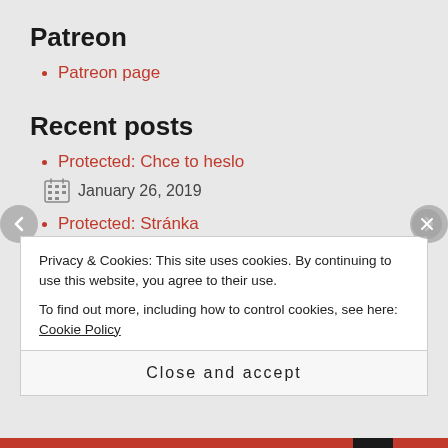Patreon
Patreon page
Recent posts
Protected: Chce to heslo
January 26, 2019
Protected: Stránka
January 26, 2019
The best solution to the three 3s puzzle
Privacy & Cookies: This site uses cookies. By continuing to use this website, you agree to their use.
To find out more, including how to control cookies, see here: Cookie Policy
Close and accept